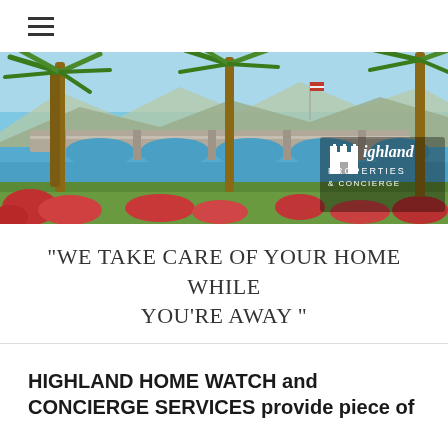☰
[Figure (photo): Outdoor scenic photo of a stone bridge over blue water with palm trees and colorful red flowers in the foreground, mountains in the background under a clear blue sky. Highland Properties & Concierge logo overlaid in the lower right.]
"WE TAKE CARE OF YOUR HOME WHILE YOU'RE AWAY "
HIGHLAND HOME WATCH and CONCIERGE SERVICES provide piece of